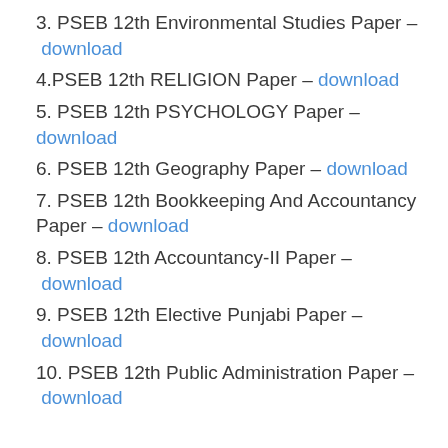3. PSEB 12th Environmental Studies Paper – download
4.PSEB 12th RELIGION Paper – download
5. PSEB 12th PSYCHOLOGY Paper – download
6. PSEB 12th Geography Paper – download
7. PSEB 12th Bookkeeping And Accountancy Paper – download
8. PSEB 12th Accountancy-II Paper – download
9. PSEB 12th Elective Punjabi Paper – download
10. PSEB 12th Public Administration Paper – download